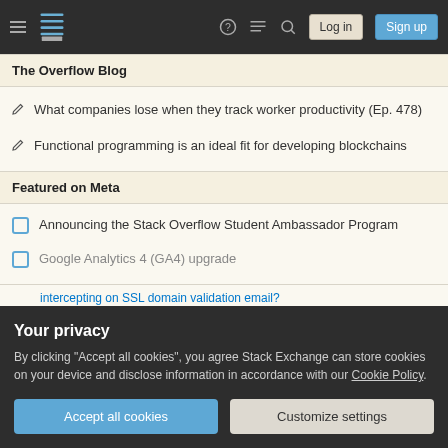Stack Overflow navigation bar with hamburger menu, logo, help, chat, search icons, Log in and Sign up buttons
The Overflow Blog
What companies lose when they track worker productivity (Ep. 478)
Functional programming is an ideal fit for developing blockchains
Featured on Meta
Announcing the Stack Overflow Student Ambassador Program
Google Analytics 4 (GA4) upgrade
Your privacy
By clicking "Accept all cookies", you agree Stack Exchange can store cookies on your device and disclose information in accordance with our Cookie Policy.
intercepting on SSL domain validation email?